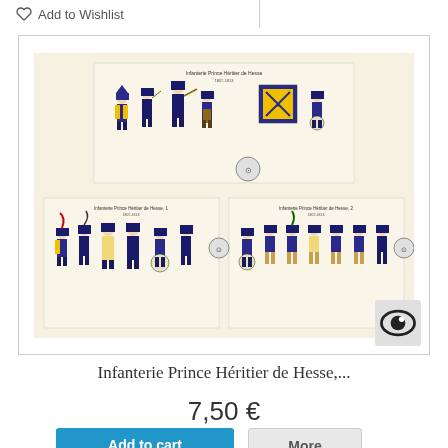Add to Wishlist
[Figure (illustration): Historical military uniform illustration showing Infanterie Prince Héritier de Hesse soldiers in blue, yellow, and tan uniforms from multiple plates, with different ranks and roles depicted including drummers and officers.]
Infanterie Prince Héritier de Hesse,...
7,50 €
Add to cart
More